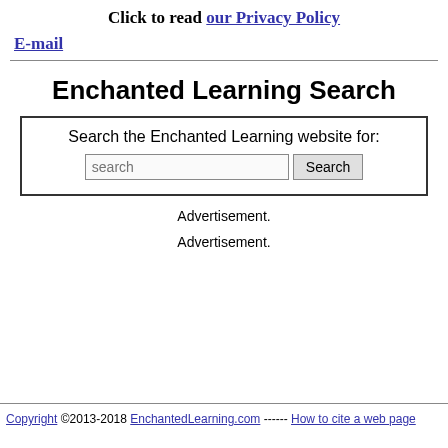Click to read our Privacy Policy
E-mail
Enchanted Learning Search
Search the Enchanted Learning website for:
Advertisement.
Advertisement.
Copyright ©2013-2018 EnchantedLearning.com ------ How to cite a web page